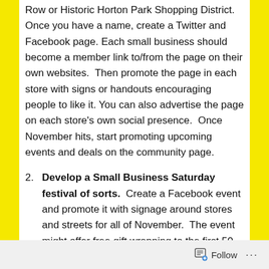Row or Historic Horton Park Shopping District. Once you have a name, create a Twitter and Facebook page. Each small business should become a member link to/from the page on their own websites. Then promote the page in each store with signs or handouts encouraging people to like it. You can also advertise the page on each store's own social presence. Once November hits, start promoting upcoming events and deals on the community page.
2. Develop a Small Business Saturday festival of sorts. Create a Facebook event and promote it with signage around stores and streets for all of November. The event might offer free gift wrapping to the first 50 customers at each
Follow ···